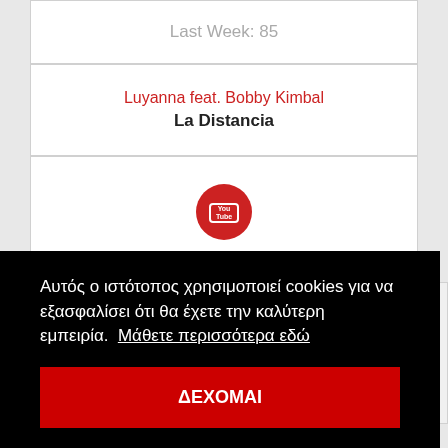Last Week: 85
Luyanna feat. Bobby Kimbal
La Distancia
[Figure (logo): YouTube circular red logo icon]
[Figure (infographic): Red downward arrow]
Αυτός ο ιστότοπος χρησιμοποιεί cookies για να εξασφαλίσει ότι θα έχετε την καλύτερη εμπειρία.  Μάθετε περισσότερα εδώ
ΔΕΧΟΜΑΙ